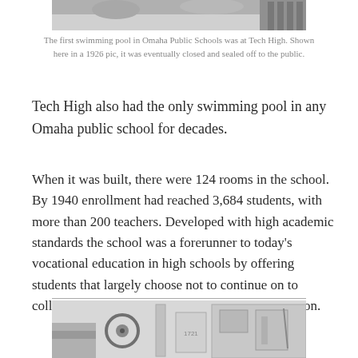[Figure (photo): Top portion of a black and white photograph of a swimming pool, cropped at top of page.]
The first swimming pool in Omaha Public Schools was at Tech High. Shown here in a 1926 pic, it was eventually closed and sealed off to the public.
Tech High also had the only swimming pool in any Omaha public school for decades.
When it was built, there were 124 rooms in the school. By 1940 enrollment had reached 3,684 students, with more than 200 teachers. Developed with high academic standards the school was a forerunner to today's vocational education in high schools by offering students that largely choose not to continue on to college the opportunity to learn a trade or profession.
[Figure (photo): Bottom portion of a black and white photograph showing interior of a school room or shop, with circular object (possibly a fan or clock) and rectangular fixtures visible.]